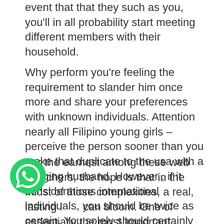event that that they such as you, you'll in all probability start meeting different members with their household.
Why perform you're feeling the requirement to slander him once more and share your preferences with unknown individuals. Attention nearly all Filipino young girls – perceive the person sooner than you make that duplicate to the usa with a sagging husband. However , if it considerations international individuals, you should be twice as certain. You solely should certainly share a couple of details about you and addContent a profile image.
For the earnest among these web searchers, the hope is that in the midst of those complexities, a real, lasting love can bloom. One of essentially the most important s in Filipino courting culture is to stay loyal to your companion. [newline]You would by no means see your